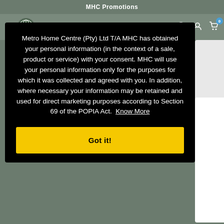MHC Promotions
Metro Home Centre (Pty) Ltd T/A MHC has obtained your personal information (in the context of a sale, product or service) with your consent. MHC will use your personal information only for the purposes for which it was collected and agreed with you. In addition, where necessary your information may be retained and used for direct marketing purposes according to Section 69 of the POPIA Act. Know More
Got it!